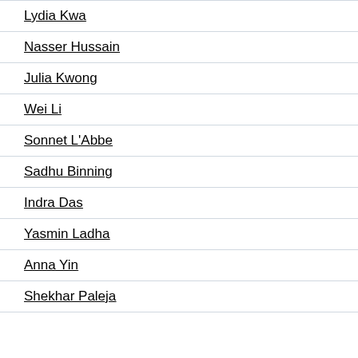Lydia Kwa
Nasser Hussain
Julia Kwong
Wei Li
Sonnet L'Abbe
Sadhu Binning
Indra Das
Yasmin Ladha
Anna Yin
Shekhar Paleja